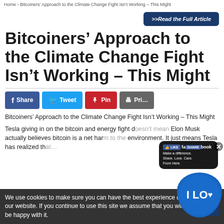Home › Bitcoiners' Approach to the Climate Change Fight Isn't Working – This Might
[Figure (other): Read the Full Article button (dark blue rounded rectangle with bold italic text)]
Bitcoiners' Approach to the Climate Change Fight Isn't Working – This Might
[Figure (other): Social sharing buttons: Share (Facebook blue), Tweet (Twitter blue), Pin (Pinterest red), Print (grey)]
Bitcoiners' Approach to the Climate Change Fight Isn't Working – This Might
Tesla giving in on the bitcoin and energy fight doesn't mean Elon Musk actually believes bitcoin is a net harm to the environment. It just means Tesla has realized th…
[Figure (other): Facebook like/share popup overlay with 'I Love' heart graphic and 'Make a difference. Share. Love. Care. From Here.' text bubble]
We use cookies to make sure you can have the best experience on our website. If you continue to use this site we assume that you will be happy with it.
Ok